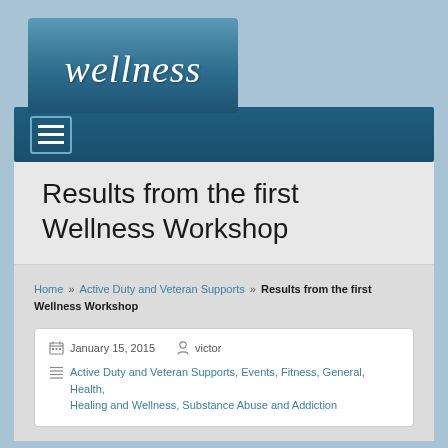[Figure (logo): Wellness website logo with cursive 'wellness' text on teal/blue gradient banner]
[Figure (screenshot): Navigation bar with hamburger menu icon on dark blue background]
Results from the first Wellness Workshop
Home » Active Duty and Veteran Supports » Results from the first Wellness Workshop
January 15, 2015   victor
Active Duty and Veteran Supports, Events, Fitness, General, Health, Healing and Wellness, Substance Abuse and Addiction